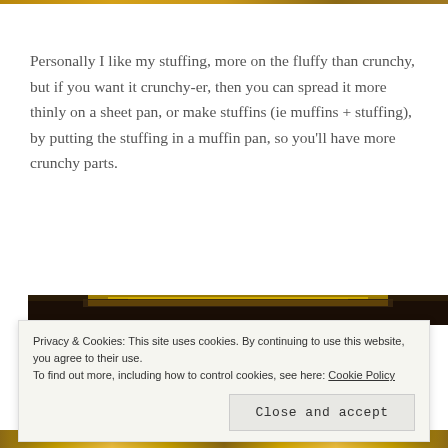[Figure (photo): Top decorative strip / partial food image at top edge]
Personally I like my stuffing, more on the fluffy than crunchy, but if you want it crunchy-er, then you can spread it more thinly on a sheet pan, or make stuffins (ie muffins + stuffing), by putting the stuffing in a muffin pan, so you'll have more crunchy parts.
[Figure (photo): Photo of stuffing in a gold baking pan, partially visible]
Privacy & Cookies: This site uses cookies. By continuing to use this website, you agree to their use.
To find out more, including how to control cookies, see here: Cookie Policy
Close and accept